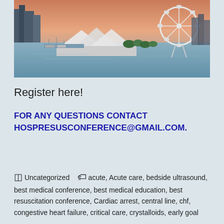[Figure (photo): Aerial view of a waterfront city with a Ferris wheel, convention center with white tent-like roof, marina, and city skyline at dusk.]
Register here!
FOR ANY QUESTIONS CONTACT HOSPRESUSCONFERENCE@GMAIL.COM.
Uncategorized   acute, Acute care, bedside ultrasound, best medical conference, best medical education, best resuscitation conference, Cardiac arrest, central line, chf, congestive heart failure, critical care, crystalloids, early goal